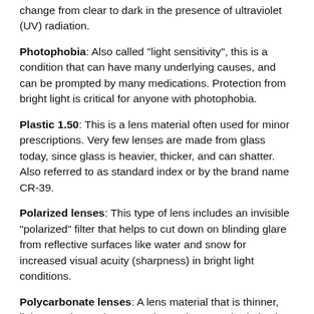change from clear to dark in the presence of ultraviolet (UV) radiation.
Photophobia: Also called 'light sensitivity', this is a condition that can have many underlying causes, and can be prompted by many medications. Protection from bright light is critical for anyone with photophobia.
Plastic 1.50: This is a lens material often used for minor prescriptions. Very few lenses are made from glass today, since glass is heavier, thicker, and can shatter. Also referred to as standard index or by the brand name CR-39.
Polarized lenses: This type of lens includes an invisible 'polarized' filter that helps to cut down on blinding glare from reflective surfaces like water and snow for increased visual acuity (sharpness) in bright light conditions.
Polycarbonate lenses: A lens material that is thinner, lighter, and more impact resistant than standard plastic. Polycarbonate